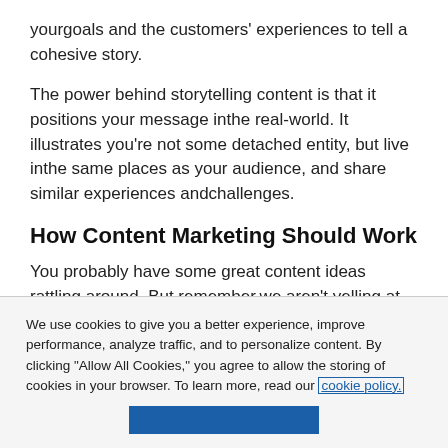yourgoals and the customers' experiences to tell a cohesive story.
The power behind storytelling content is that it positions your message inthe real-world. It illustrates you're not some detached entity, but live inthe same places as your audience, and share similar experiences andchallenges.
How Content Marketing Should Work
You probably have some great content ideas rattling around. But remember,we aren't yelling at people. Content should be a conversation that says:
We use cookies to give you a better experience, improve performance, analyze traffic, and to personalize content. By clicking "Allow All Cookies," you agree to allow the storing of cookies in your browser. To learn more, read our cookie policy.